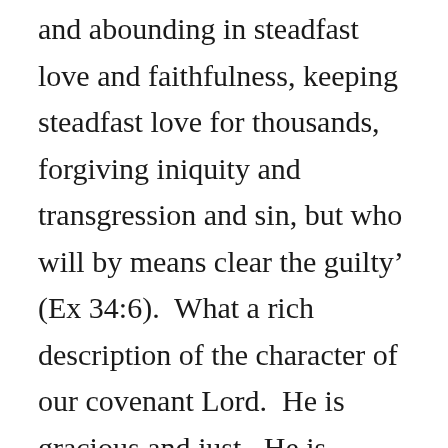and abounding in steadfast love and faithfulness, keeping steadfast love for thousands, forgiving iniquity and transgression and sin, but who will by means clear the guilty' (Ex 34:6).  What a rich description of the character of our covenant Lord.  He is gracious and just.  He is merciful and holy.  And of course, these two facets of his character come together beautifully in the cross.  For it was at the cross where God's holiness and love kiss (Ps 85:10).  God's justice was satisfied in his wrath